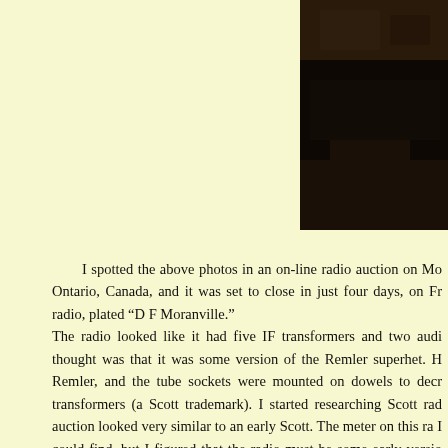[Figure (photo): Dark brown/black photo of what appears to be the top portion of a vintage radio, partially cropped, positioned in the upper right of the page.]
I spotted the above photos in an on-line radio auction on Mo Ontario, Canada, and it was set to close in just four days, on Fr radio, plated "D F Moranville."
 The radio looked like it had five IF transformers and two audi thought was that it was some version of the Remler superhet. H Remler, and the tube sockets were mounted on dowels to dec transformers (a Scott trademark). I started researching Scott rad auction looked very similar to an early Scott. The meter on this r I could find, but I figured that the radio must be some early versi the correct "Thor" coupler, and there was only a couple of modifications).
 I held my breath for four days until the end of the auction extremely lucky that no one else recognized what the set really w